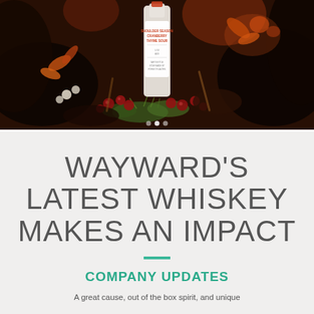[Figure (photo): A decorative photograph showing a bottle labeled 'Shoulder Season Cranberry Thyme Sour' surrounded by cranberries, autumn flowers, foliage, and seasonal decorations on a dark background.]
WAYWARD'S LATEST WHISKEY MAKES AN IMPACT
COMPANY UPDATES
A great cause, out of the box spirit, and unique